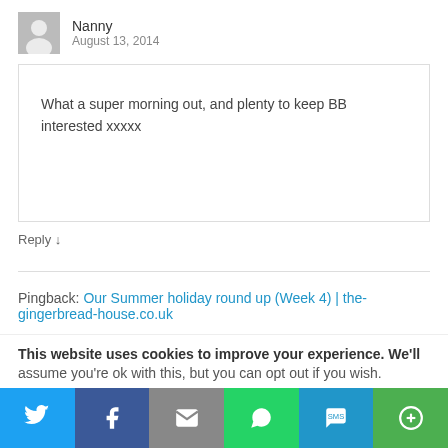Nanny
August 13, 2014
What a super morning out, and plenty to keep BB interested xxxxx
Reply ↓
Pingback: Our Summer holiday round up (Week 4) | the-gingerbread-house.co.uk
Pingback: Paddington Bear at Paddington Station |
This website uses cookies to improve your experience. We'll assume you're ok with this, but you can opt out if you wish.